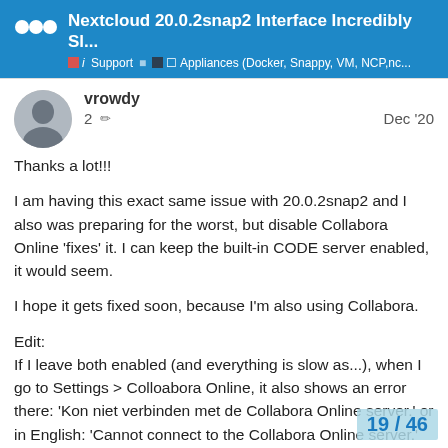Nextcloud 20.0.2snap2 Interface Incredibly Sl... | Support | Appliances (Docker, Snappy, VM, NCP,nc...
vrowdy  2  Dec '20
Thanks a lot!!!

I am having this exact same issue with 20.0.2snap2 and I also was preparing for the worst, but disable Collabora Online 'fixes' it. I can keep the built-in CODE server enabled, it would seem.

I hope it gets fixed soon, because I'm also using Collabora.

Edit:
If I leave both enabled (and everything is slow as...), when I go to Settings > Colloabora Online, it also shows an error there: 'Kon niet verbinden met de Collabora Online server.' or in English: 'Cannot connect to the Collabora Online server.' Even though I have a local CODE server i... in the options. So, it seems Collabora is t...
19 / 46